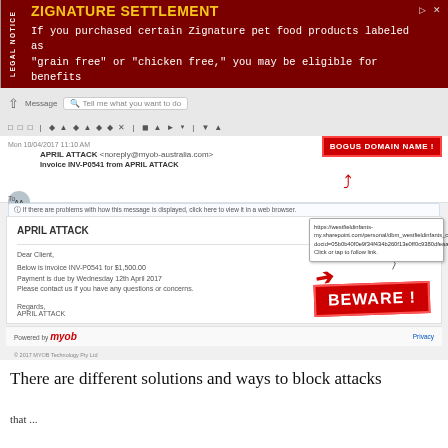[Figure (screenshot): Ad banner for Zignature Settlement legal notice with dark red background, yellow title 'ZIGNATURE SETTLEMENT' and white text describing Zignature pet food product eligibility for benefits]
[Figure (screenshot): Screenshot of a phishing email in an email client, showing a fake MYOB invoice from 'APRIL ATTACK <noreply@myob-australia.com>' with annotations 'BOGUS DOMAIN NAME!' and 'BEWARE!' pointing to suspicious elements including a malicious URL and a 'View Invoice' button]
There are different solutions and ways to block attacks
that ...